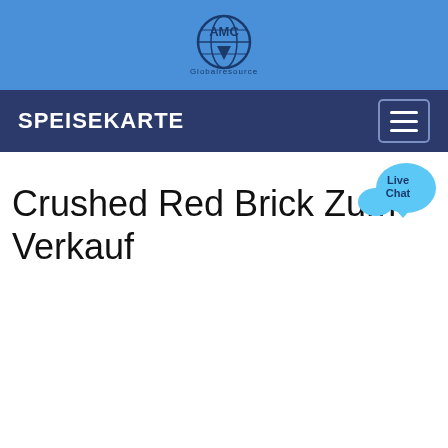[Figure (logo): AMC Globalresource logo with globe icon on blue background]
SPEISEKARTE
[Figure (infographic): Live Chat speech bubble icon in blue]
Crushed Red Brick Zum Verkauf
Sagen Sie uns, wonach Sie suchen?
Bitte füllen Sie das folgende Formular aus und senden Sie es ab, unser Serviceteam wird sich so schnell wie möglich mit Ihnen in Verbindung setzen und Ihnen eine